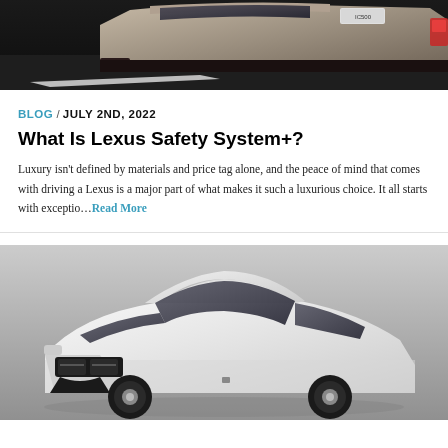[Figure (photo): Top portion of a Lexus sports car (IC500) photographed from the rear on a dark road, showing the back end with license plate and exhaust]
BLOG / JULY 2ND, 2022
What Is Lexus Safety System+?
Luxury isn't defined by materials and price tag alone, and the peace of mind that comes with driving a Lexus is a major part of what makes it such a luxurious choice. It all starts with exceptio...Read More
[Figure (photo): A white/silver Lexus sedan photographed from a front three-quarter angle against a gray gradient background]